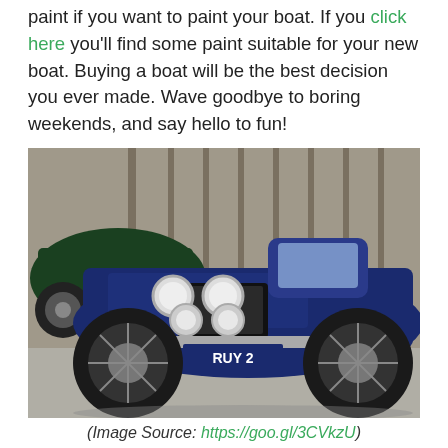paint if you want to paint your boat. If you click here you'll find some paint suitable for your new boat. Buying a boat will be the best decision you ever made. Wave goodbye to boring weekends, and say hello to fun!
[Figure (photo): Photograph of a vintage blue Morgan three-wheeler sports car with registration plate 'RUY 2', parked in front of a dark green classic car, taken at what appears to be a car show or parking area.]
(Image Source: https://goo.gl/3CVkzU)